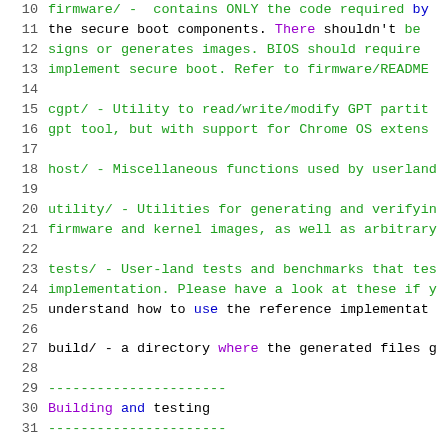10  firmware/ - contains ONLY the code required by
11  the secure boot components. There shouldn't be
12  signs or generates images. BIOS should require
13  implement secure boot. Refer to firmware/README
14
15  cgpt/ - Utility to read/write/modify GPT partiti
16  gpt tool, but with support for Chrome OS extens
17
18  host/ - Miscellaneous functions used by userland
19
20  utility/ - Utilities for generating and verifying
21  firmware and kernel images, as well as arbitrary
22
23  tests/ - User-land tests and benchmarks that test
24  implementation. Please have a look at these if y
25  understand how to use the reference implementat
26
27  build/ - a directory where the generated files g
28
29  ----------------------
30  Building and testing
31  ----------------------